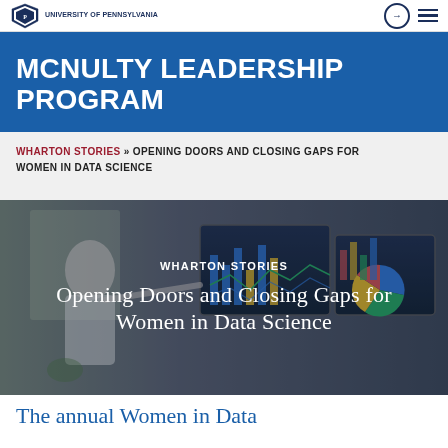University of Pennsylvania / McNulty Leadership Program
MCNULTY LEADERSHIP PROGRAM
WHARTON STORIES » OPENING DOORS AND CLOSING GAPS FOR WOMEN IN DATA SCIENCE
[Figure (photo): Woman pointing at data science dashboards on computer monitors, with overlaid text reading WHARTON STORIES and Opening Doors and Closing Gaps for Women in Data Science]
The annual Women in Data